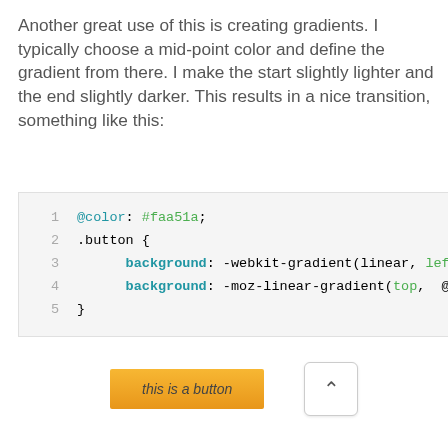Another great use of this is creating gradients. I typically choose a mid-point color and define the gradient from there. I make the start slightly lighter and the end slightly darker. This results in a nice transition, something like this:
[Figure (screenshot): Code block showing LESS/CSS code with syntax highlighting. Lines numbered 1-5. Line 1: @color: #faa51a; Line 2: .button { Line 3: background: -webkit-gradient(linear, left Line 4: background: -moz-linear-gradient(top, @co Line 5: }]
[Figure (screenshot): An orange gradient button labeled 'this is a button' and an up-arrow navigation button on the right.]